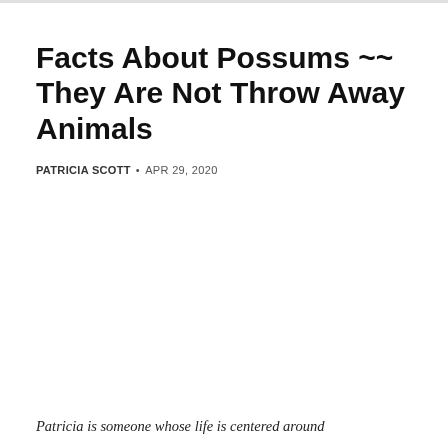Facts About Possums ~~ They Are Not Throw Away Animals
PATRICIA SCOTT • APR 29, 2020
Patricia is someone whose life is centered around